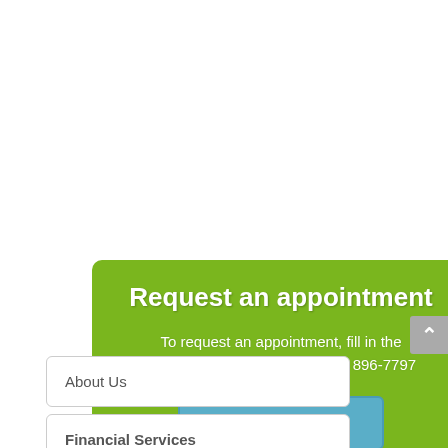Request an appointment
To request an appointment, fill in the contact form or call us at (888) 896-7797
Contact Us
About Us
Financial Services